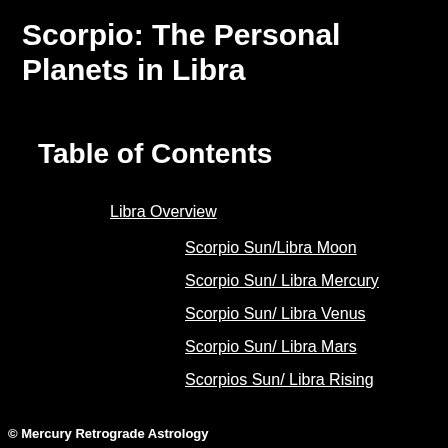Scorpio: The Personal Planets in Libra
Table of Contents
Libra Overview
Scorpio Sun/Libra Moon
Scorpio Sun/ Libra Mercury
Scorpio Sun/ Libra Venus
Scorpio Sun/ Libra Mars
Scorpios Sun/ Libra Rising
© Mercury Retrograde Astrology